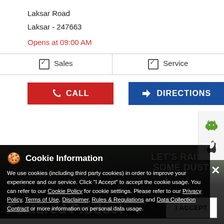Laksar Road
Laksar - 247663
Opens at 09:00 AM
✓ Sales   ✓ Service
CALL
DIRECTIONS
[Figure (screenshot): Android and Apple app store icons on a sidebar]
[Figure (photo): Dark outdoor banner with text LET'S RAISE SOME DUST]
Cookie Information
We use cookies (including third party cookies) in order to improve your experience and our service. Click "I Accept" to accept the cookie usage. You can refer to our Cookie Policy for cookie settings. Please refer to our Privacy Policy, Terms of Use, Disclaimer, Rules & Regulations and Data Collection Contract or more information on personal data usage.
Featured Product
I ACCEPT